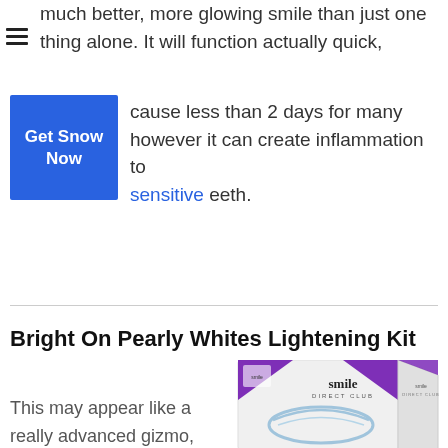much better, more glowing smile than just one thing alone. It will function actually quick,
[Figure (other): Blue button with white bold text reading 'Get Snow Now']
cause less than 2 days for many however it can create inflammation to sensitive teeth.
Bright On Pearly Whites Lightening Kit
This may appear like a really advanced gizmo, yet it's
[Figure (photo): Product box for Smile Direct Club Bright On Pearly Whites Lightening Kit showing a dental mouthguard tray on the box front]